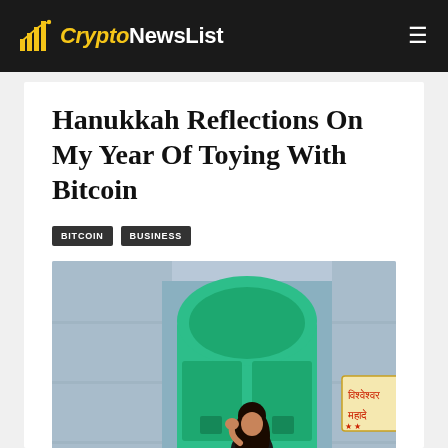CryptoNewsList
Hanukkah Reflections On My Year Of Toying With Bitcoin
BITCOIN
BUSINESS
[Figure (photo): A woman in a black outfit standing in front of a large turquoise/green ornate arched door set in a blue-washed wall, with a Hindi script sign on the right reading (Vishweshwar Mahadev). The setting appears to be in India (Jodhpur).]